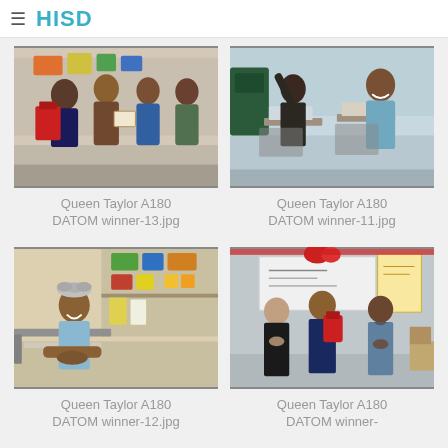HISD
[Figure (photo): Group of adults in a classroom, one person holding a certificate and another carrying red gift bags]
Queen Taylor A180 DATOM winner-13.jpg
[Figure (photo): Two students sitting at desks in a classroom, one smiling at the camera]
Queen Taylor A180 DATOM winner-11.jpg
[Figure (photo): Young girl in a light blue shirt sitting at a desk in a classroom, smiling]
Queen Taylor A180 DATOM winner-12.jpg
[Figure (photo): Adults standing in a classroom near a whiteboard, one holding a red backpack]
Queen Taylor A180 DATOM winner-